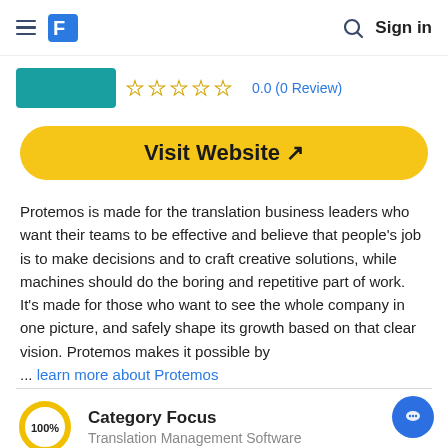Sign in
[Figure (other): Star rating showing 0.0 (0 Review) with 5 empty stars]
Visit Website ↗
Protemos is made for the translation business leaders who want their teams to be effective and believe that people's job is to make decisions and to craft creative solutions, while machines should do the boring and repetitive part of work. It's made for those who want to see the whole company in one picture, and safely shape its growth based on that clear vision. Protemos makes it possible by ... learn more about Protemos
Category Focus
Translation Management Software